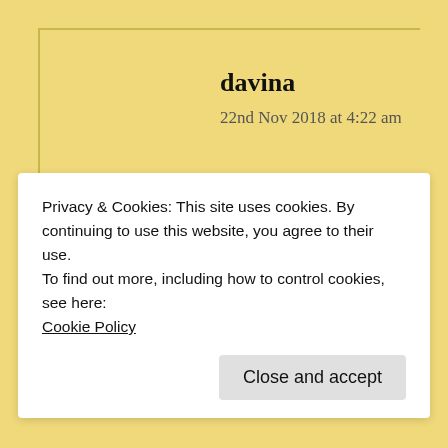davina
22nd Nov 2018 at 4:22 am
Thnx
★ Like
↳ Reply
Privacy & Cookies: This site uses cookies. By continuing to use this website, you agree to their use.
To find out more, including how to control cookies, see here:
Cookie Policy
Close and accept